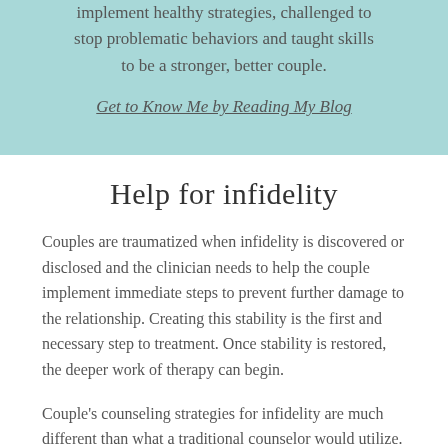implement healthy strategies, challenged to stop problematic behaviors and taught skills to be a stronger, better couple.
Get to Know Me by Reading My Blog
Help for infidelity
Couples are traumatized when infidelity is discovered or disclosed and the clinician needs to help the couple implement immediate steps to prevent further damage to the relationship. Creating this stability is the first and necessary step to treatment. Once stability is restored, the deeper work of therapy can begin.
Couple's counseling strategies for infidelity are much different than what a traditional counselor would utilize. When couples set